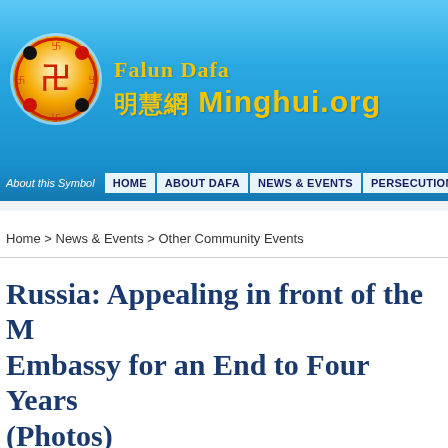[Figure (logo): Falun Dafa / Minghui.org website header with logo and site name]
About this Symbol  HOME  ABOUT DAFA  NEWS & EVENTS  PERSECUTION
Home > News & Events > Other Community Events
Russia: Appealing in front of the M... Embassy for an End to Four Years ... (Photos)
July 25, 2003 | By practitioners from Russia